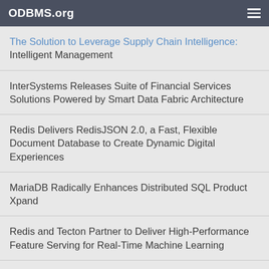ODBMS.org
The Solution to Leverage Supply Chain Intelligence: Intelligent Management
InterSystems Releases Suite of Financial Services Solutions Powered by Smart Data Fabric Architecture
Redis Delivers RedisJSON 2.0, a Fast, Flexible Document Database to Create Dynamic Digital Experiences
MariaDB Radically Enhances Distributed SQL Product Xpand
Redis and Tecton Partner to Deliver High-Performance Feature Serving for Real-Time Machine Learning
McObject and Siemens Embedded Announce Immediate Availability of eXtremeDB/rt for Nucleus RTOS